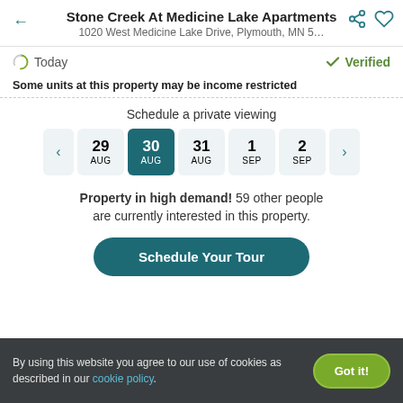Stone Creek At Medicine Lake Apartments
1020 West Medicine Lake Drive, Plymouth, MN 5…
Today
Verified
Some units at this property may be income restricted
Schedule a private viewing
29 AUG | 30 AUG (selected) | 31 AUG | 1 SEP | 2 SEP
Property in high demand! 59 other people are currently interested in this property.
Schedule Your Tour
By using this website you agree to our use of cookies as described in our cookie policy.
Got it!